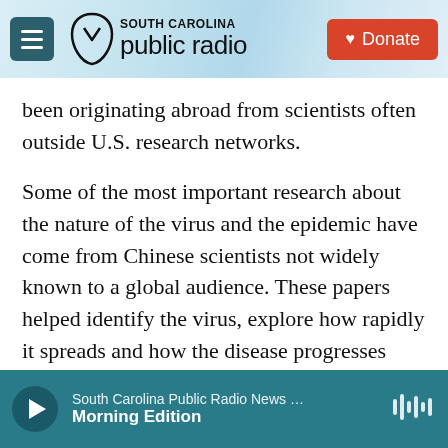South Carolina Public Radio — Donate
been originating abroad from scientists often outside U.S. research networks.
Some of the most important research about the nature of the virus and the epidemic have come from Chinese scientists not widely known to a global audience. These papers helped identify the virus, explore how rapidly it spreads and how the disease progresses within an individual. Bloom says important insights about the unfolding pandemic came as well from researchers in Spain and Italy who were not widely known internationally.
South Carolina Public Radio News … Morning Edition